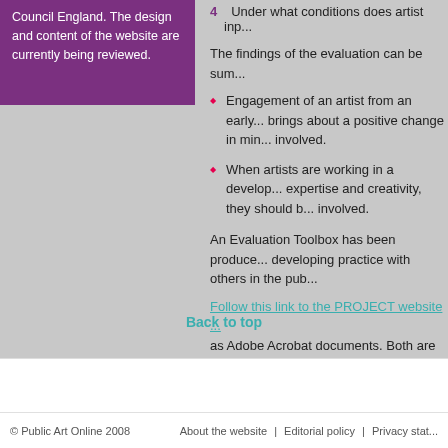Council England. The design and content of the website are currently being reviewed.
Under what conditions does artist inp...
The findings of the evaluation can be sum...
Engagement of an artist from an early... brings about a positive change in min... involved.
When artists are working in a develop... expertise and creativity, they should b... involved.
An Evaluation Toolbox has been produce... developing practice with others in the pub...
Follow this link to the PROJECT website ... as Adobe Acrobat documents. Both are a...
Back to top
© Public Art Online 2008   About the website | Editorial policy | Privacy stat...